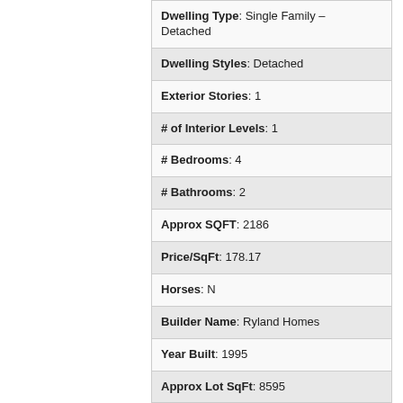| Dwelling Type | Single Family – Detached |
| Dwelling Styles | Detached |
| Exterior Stories | 1 |
| # of Interior Levels | 1 |
| # Bedrooms | 4 |
| # Bathrooms | 2 |
| Approx SQFT | 2186 |
| Price/SqFt | 178.17 |
| Horses | N |
| Builder Name | Ryland Homes |
| Year Built | 1995 |
| Approx Lot SqFt | 8595 |
| Pool | Private Only |